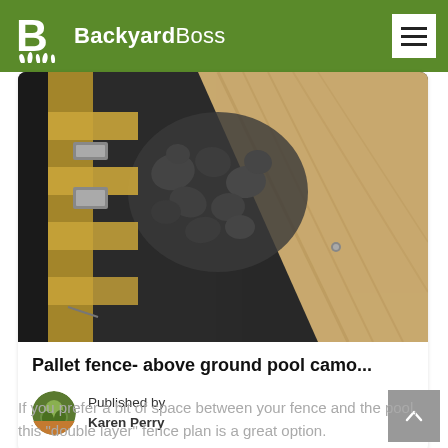BackyardBoss
[Figure (photo): Close-up photo of a wooden pallet fence with black rocks/pebbles visible and a nail or screw in the wood, showing construction detail of an above-ground pool camouflage fence.]
Pallet fence- above ground pool camo...
Published by
Karen Perry
If you prefer a bit of space between your fence and the pool, this “double layer” fence plan is a great option.